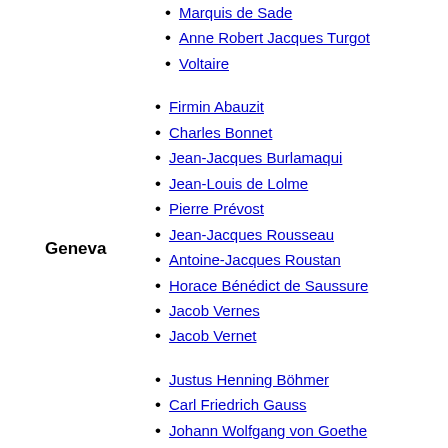Marquis de Sade
Anne Robert Jacques Turgot
Voltaire
Firmin Abauzit
Charles Bonnet
Jean-Jacques Burlamaqui
Jean-Louis de Lolme
Pierre Prévost
Jean-Jacques Rousseau
Antoine-Jacques Roustan
Horace Bénédict de Saussure
Jacob Vernes
Jacob Vernet
Justus Henning Böhmer
Carl Friedrich Gauss
Johann Wolfgang von Goethe
Johann Gottfried von Herder
Theodor Gottlieb von Hippel
Wilhelm von Humboldt
Immanuel Kant
Gottfried Wilhelm Leibniz
Gotthold Ephraim Lessing
Georg Christoph Lichtenberg